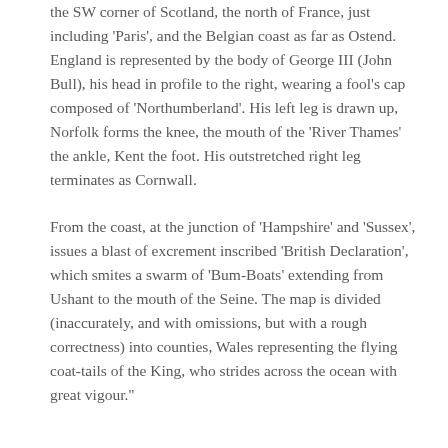the SW corner of Scotland, the north of France, just including 'Paris', and the Belgian coast as far as Ostend. England is represented by the body of George III (John Bull), his head in profile to the right, wearing a fool's cap composed of 'Northumberland'. His left leg is drawn up, Norfolk forms the knee, the mouth of the 'River Thames' the ankle, Kent the foot. His outstretched right leg terminates as Cornwall.
From the coast, at the junction of 'Hampshire' and 'Sussex', issues a blast of excrement inscribed 'British Declaration', which smites a swarm of 'Bum-Boats' extending from Ushant to the mouth of the Seine. The map is divided (inaccurately, and with omissions, but with a rough correctness) into counties, Wales representing the flying coat-tails of the King, who strides across the ocean with great vigour."